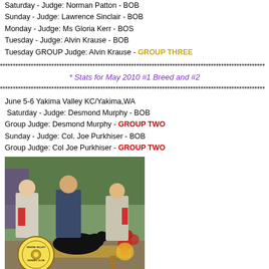Saturday - Judge: Norman Patton - BOB
Sunday - Judge: Lawrence Sinclair - BOB
Monday - Judge: Ms Gloria Kerr - BOS
Tuesday - Judge: Alvin Krause - BOB
Tuesday GROUP Judge: Alvin Krause - GROUP THREE
************************************************************
* Stats for May 2010 #1 Breed and #2
************************************************************
June 5-6 Yakima Valley KC/Yakima,WA
Saturday - Judge: Desmond Murphy - BOB
Group Judge: Desmond Murphy - GROUP TWO
Sunday - Judge: Col. Joe Purkhiser - BOB
Group Judge: Col Joe Purkhiser - GROUP TWO
[Figure (photo): Three men posing with a black dog at a dog show, Yakima Valley Kennel Club logo visible]
************************************************************